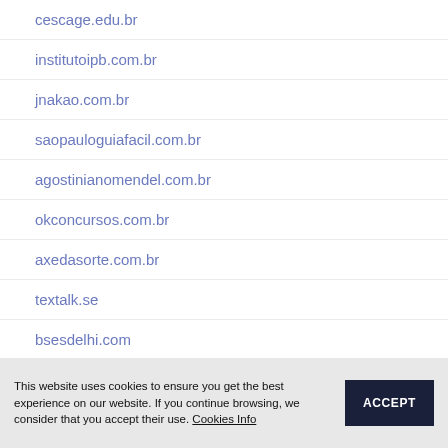cescage.edu.br
institutoipb.com.br
jnakao.com.br
saopauloguiafacil.com.br
agostinianomendel.com.br
okconcursos.com.br
axedasorte.com.br
textalk.se
bsesdelhi.com
iam8bit.com
This website uses cookies to ensure you get the best experience on our website. If you continue browsing, we consider that you accept their use. Cookies Info